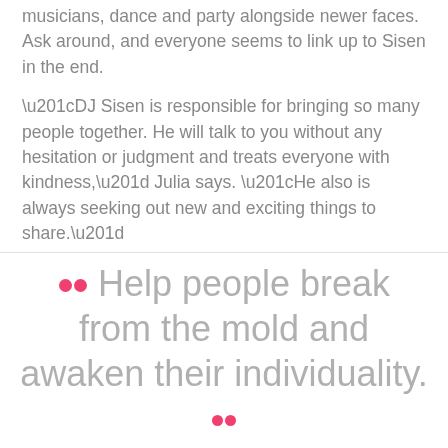musicians, dance and party alongside newer faces. Ask around, and everyone seems to link up to Sisen in the end.
“DJ Sisen is responsible for bringing so many people together. He will talk to you without any hesitation or judgment and treats everyone with kindness,” Julia says. “He also is always seeking out new and exciting things to share.”
●● Help people break from the mold and awaken their individuality. ●●